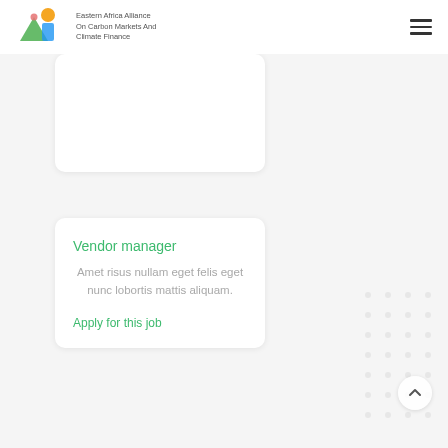Eastern Africa Alliance On Carbon Markets And Climate Finance
[Figure (logo): Eastern Africa Alliance On Carbon Markets And Climate Finance logo with colorful abstract figures icon]
Vendor manager
Amet risus nullam eget felis eget nunc lobortis mattis aliquam.
Apply for this job